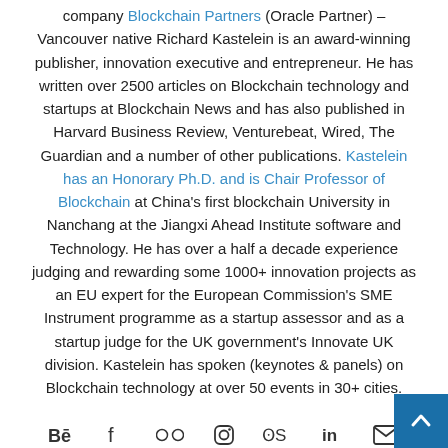company Blockchain Partners (Oracle Partner) – Vancouver native Richard Kastelein is an award-winning publisher, innovation executive and entrepreneur. He has written over 2500 articles on Blockchain technology and startups at Blockchain News and has also published in Harvard Business Review, Venturebeat, Wired, The Guardian and a number of other publications. Kastelein has an Honorary Ph.D. and is Chair Professor of Blockchain at China's first blockchain University in Nanchang at the Jiangxi Ahead Institute software and Technology. He has over a half a decade experience judging and rewarding some 1000+ innovation projects as an EU expert for the European Commission's SME Instrument programme as a startup assessor and as a startup judge for the UK government's Innovate UK division. Kastelein has spoken (keynotes & panels) on Blockchain technology at over 50 events in 30+ cities.
[Figure (other): Row of social media icons: Behance, Facebook, Flickr, Instagram, Last.fm, LinkedIn, Email]
[Figure (other): Row of social media icons: Patreon/PayPal, Pinterest, Reddit, Skype, SoundCloud, Spotify, Telegram]